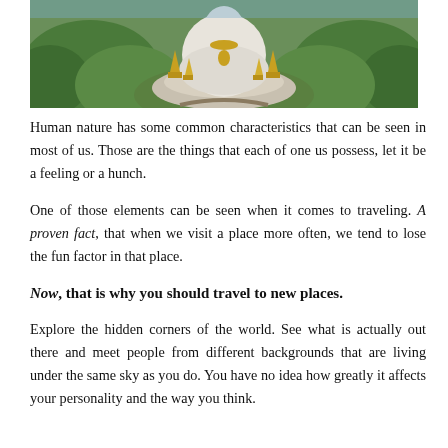[Figure (photo): Aerial view of a large white Buddha statue surrounded by green trees and smaller golden structures, photographed from above.]
Human nature has some common characteristics that can be seen in most of us. Those are the things that each of one us possess, let it be a feeling or a hunch.
One of those elements can be seen when it comes to traveling. A proven fact, that when we visit a place more often, we tend to lose the fun factor in that place.
Now, that is why you should travel to new places.
Explore the hidden corners of the world. See what is actually out there and meet people from different backgrounds that are living under the same sky as you do. You have no idea how greatly it affects your personality and the way you think.